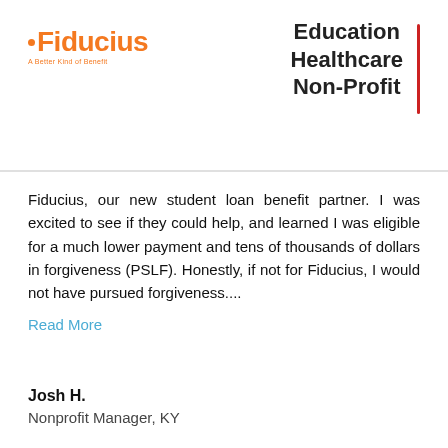[Figure (logo): Fiducius logo with orange dot and 'A Better Kind of Benefit' tagline]
Education
Healthcare
Non-Profit
Fiducius, our new student loan benefit partner. I was excited to see if they could help, and learned I was eligible for a much lower payment and tens of thousands of dollars in forgiveness (PSLF). Honestly, if not for Fiducius, I would not have pursued forgiveness....
Read More
Josh H.
Nonprofit Manager, KY